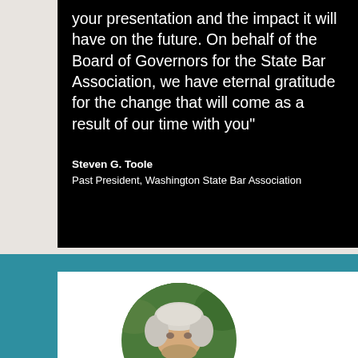your presentation and the impact it will have on the future. On behalf of the Board of Governors for the State Bar Association, we have eternal gratitude for the change that will come as a result of our time with you”
Steven G. Toole
Past President, Washington State Bar Association
[Figure (photo): Circular portrait photo of a man with white/grey hair, outdoors with green foliage in background, cropped in circular frame on white card background, situated on teal background section]